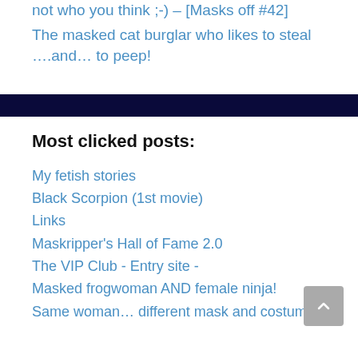not who you think ;-) – [Masks off #42]
The masked cat burglar who likes to steal ….and… to peep!
Most clicked posts:
My fetish stories
Black Scorpion (1st movie)
Links
Maskripper's Hall of Fame 2.0
The VIP Club - Entry site -
Masked frogwoman AND female ninja!
Same woman… different mask and costume!